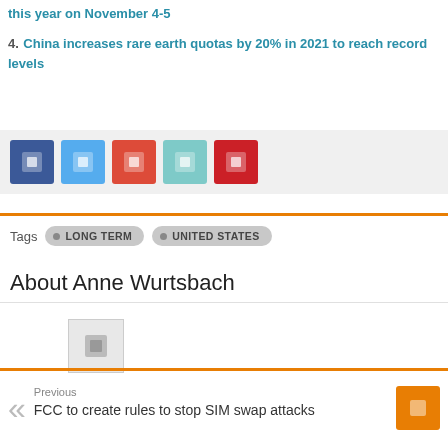this year on November 4-5
4. China increases rare earth quotas by 20% in 2021 to reach record levels
[Figure (other): Social sharing buttons: Facebook, Twitter, Google+, LinkedIn, Pinterest]
Tags  LONG TERM  UNITED STATES
About Anne Wurtsbach
[Figure (photo): Author photo placeholder image]
Previous
FCC to create rules to stop SIM swap attacks